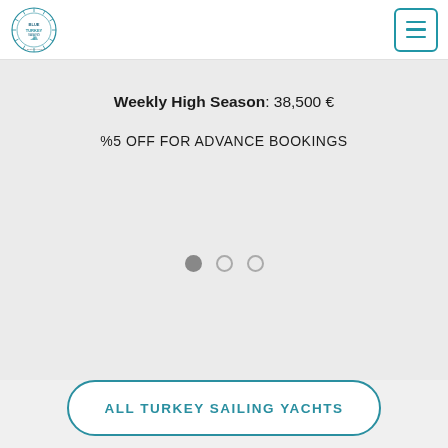[Figure (logo): Blue Turkey sailing logo - circular wreath with text]
Weekly High Season: 38,500 €
%5 OFF FOR ADVANCE BOOKINGS
[Figure (other): Carousel navigation dots - three circles, first filled, two empty]
ALL TURKEY SAILING YACHTS